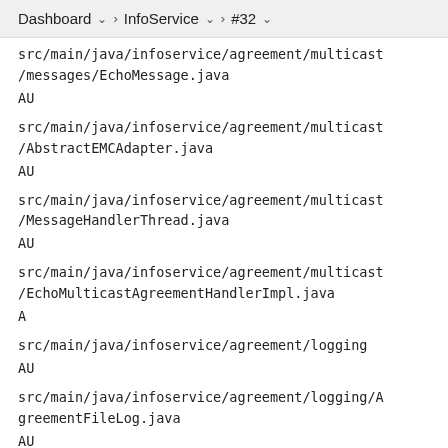Dashboard > InfoService > #32
src/main/java/infoservice/agreement/multicast/messages/EchoMessage.java
AU
src/main/java/infoservice/agreement/multicast/AbstractEMCAdapter.java
AU
src/main/java/infoservice/agreement/multicast/MessageHandlerThread.java
AU
src/main/java/infoservice/agreement/multicast/EchoMulticastAgreementHandlerImpl.java
A
src/main/java/infoservice/agreement/logging
AU
src/main/java/infoservice/agreement/logging/AgreementFileLog.java
AU
src/main/java/infoservice/agreement/logging/GiveThingsAName.java